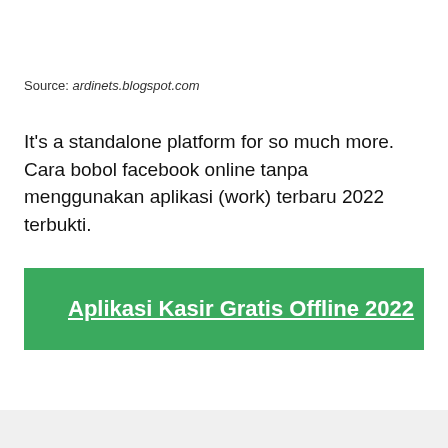Source: ardinets.blogspot.com
It's a standalone platform for so much more. Cara bobol facebook online tanpa menggunakan aplikasi (work) terbaru 2022 terbukti.
[Figure (other): Green button/banner with white bold underlined text: Aplikasi Kasir Gratis Offline 2022]